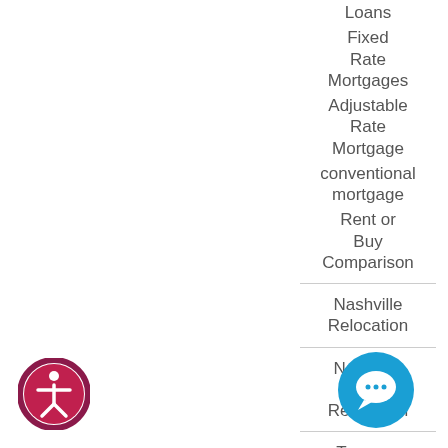Loans
Fixed Rate Mortgages
Adjustable Rate Mortgage
conventional mortgage
Rent or Buy Comparison
Nashville Relocation
Nashville CKE Relocation
Tennessee Opportunity